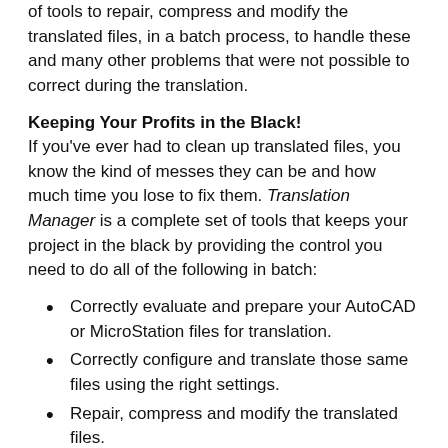of tools to repair, compress and modify the translated files, in a batch process, to handle these and many other problems that were not possible to correct during the translation.
Keeping Your Profits in the Black!
If you've ever had to clean up translated files, you know the kind of messes they can be and how much time you lose to fix them. Translation Manager is a complete set of tools that keeps your project in the black by providing the control you need to do all of the following in batch:
Correctly evaluate and prepare your AutoCAD or MicroStation files for translation.
Correctly configure and translate those same files using the right settings.
Repair, compress and modify the translated files.
Translation Manager provides a complete set of